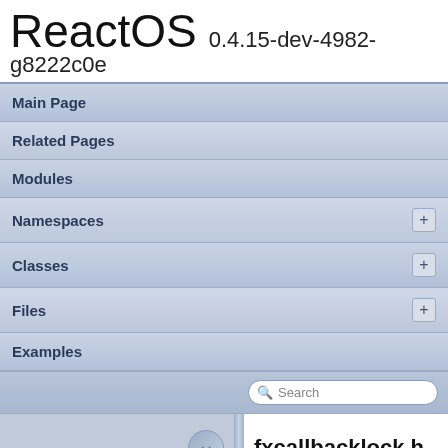ReactOS 0.4.15-dev-4982-g8222c0e
Main Page
Related Pages
Modules
Namespaces
Classes
Files
Examples
fxcallbacklock.h
sdk  lib  drivers  wdf  shared  inc  private  common